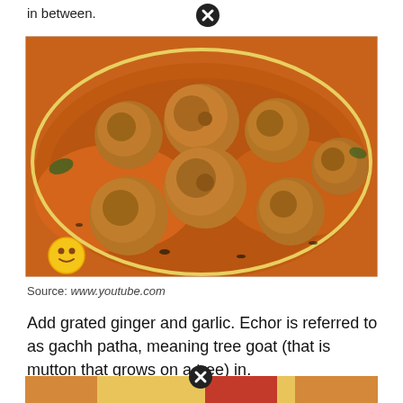in between.
[Figure (photo): A bowl of golden-brown meatballs/koftas in a rich orange-red curry sauce, with a small yellow emoji icon in the bottom-left corner of the image.]
Source: www.youtube.com
Add grated ginger and garlic. Echor is referred to as gachh patha, meaning tree goat (that is mutton that grows on a tree) in.
[Figure (photo): Partial view of another food photo at the bottom of the page, partially obscured by a close/dismiss button overlay.]